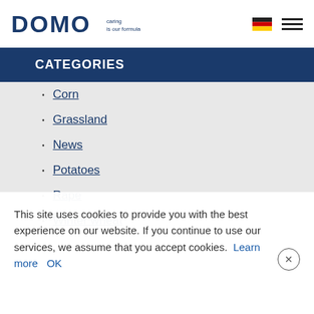[Figure (logo): DOMO logo with tagline 'caring is our formula' and German flag icon with hamburger menu]
CATEGORIES
Corn
Grassland
News
Potatoes
Rape
Winter wheat
This site uses cookies to provide you with the best experience on our website. If you continue to use our services, we assume that you accept cookies. Learn more OK